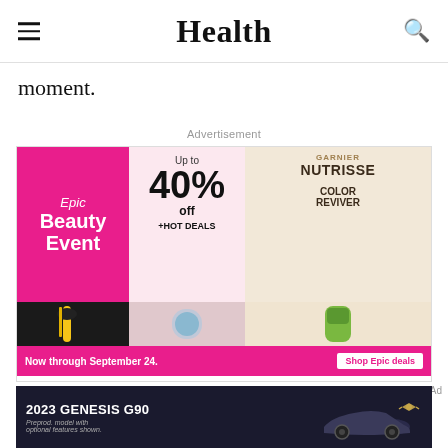Health
moment.
Advertisement
[Figure (photo): CVS pharmacy Epic Beauty Event advertisement showing mascara, skincare capsules, and Garnier Nutrisse Color Reviver product. Up to 40% off + Hot Deals. Now through September 24. Shop Epic deals. 43930 Farmwell Hunt Plz Ste 140, Ashburn VA 20147.]
[Figure (photo): 2023 Genesis G90 car advertisement on dark background. Text reads: 2023 GENESIS G90. Preprod. model with optional features shown.]